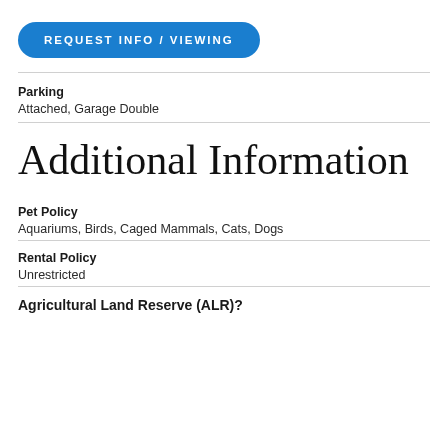[Figure (other): Blue pill-shaped button with white uppercase text: REQUEST INFO / VIEWING]
Parking
Attached, Garage Double
Additional Information
Pet Policy
Aquariums, Birds, Caged Mammals, Cats, Dogs
Rental Policy
Unrestricted
Agricultural Land Reserve (ALR)?